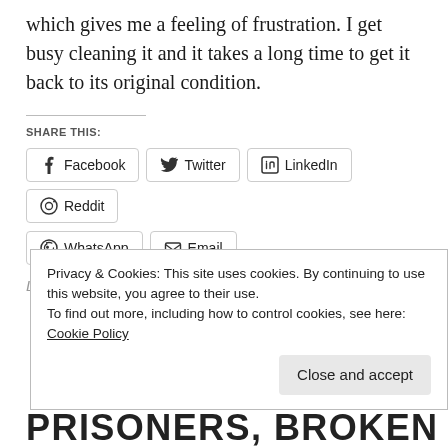which gives me a feeling of frustration. I get busy cleaning it and it takes a long time to get it back to its original condition.
SHARE THIS:
[Figure (screenshot): Social share buttons: Facebook, Twitter, LinkedIn, Reddit, WhatsApp, Email]
Loading...
Privacy & Cookies: This site uses cookies. By continuing to use this website, you agree to their use. To find out more, including how to control cookies, see here: Cookie Policy
Close and accept
PRISONERS, BROKEN